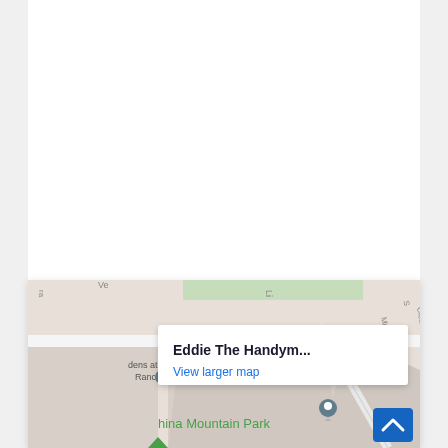[Figure (map): Google Maps screenshot showing location of 'Eddie The Handym...' with a tooltip overlay showing 'Eddie The Handym...' and 'View larger map' link. Map shows streets including Stablegate Ave, Misty Garden, Clearwater, a location marker for MNRP International, and green area labeled 'hina Mountain Park'. A blue scroll-to-top button appears bottom right.]